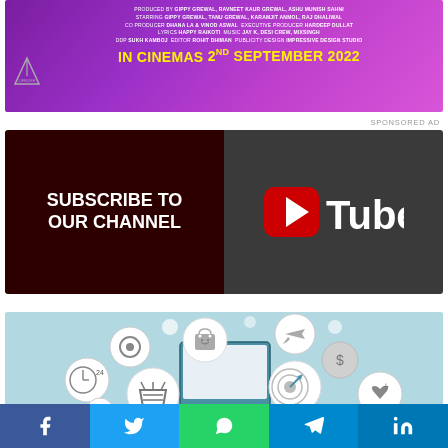[Figure (illustration): Movie promotional banner with purple/pink gradient background. Credits text at top. Large yellow text reading 'IN CINEMAS 2ND SEPTEMBER 2022'. Small logo at bottom left.]
SPONSORED AD
[Figure (illustration): YouTube subscribe banner. Left half dark maroon with white text 'SUBSCRIBE TO OUR CHANNEL'. Right half dark gray with YouTube logo.]
[Figure (illustration): E-commerce infographic with light blue background showing various shopping and service icons in circles: settings, clock/24h, shopping bag, airplane, dollar coin, shopping basket, target/bullseye, lock, heart with plus, phone, house, message bubble, gift. A tablet device is visible in the center.]
[Figure (illustration): Social media share bar at the bottom with five buttons: Facebook (blue, f icon), Twitter (light blue, bird icon), WhatsApp (green, phone icon), Telegram (blue, paper plane icon), LinkedIn (dark blue, in icon).]